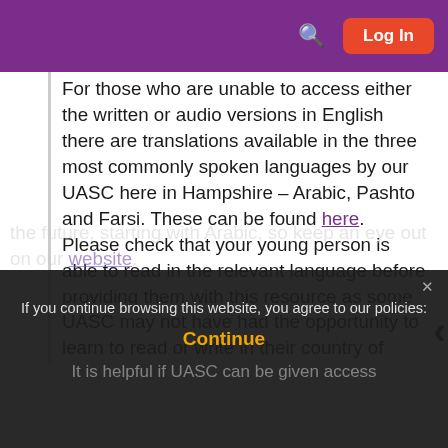Log In
For those who are unable to access either the written or audio versions in English there are translations available in the three most commonly spoken languages by our UASC here in Hampshire – Arabic, Pashto and Farsi. These can be found here. Please check that your young person is able to read in the relevant language before providing them with this resource as some UASC may not have had the opportunity to learn to read or write in their country of origin due to difficulties with accessing education. EMTAS hopes to be able to provide audio versions of these translated booklets in the future, starting with Arabic, so keep an eye out on our website.
If you continue browsing this website, you agree to our policies:
Continue
It is helpful if UASC can be given access